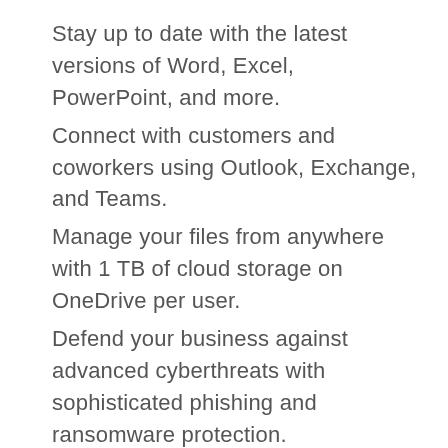Stay up to date with the latest versions of Word, Excel, PowerPoint, and more.
Connect with customers and coworkers using Outlook, Exchange, and Teams.
Manage your files from anywhere with 1 TB of cloud storage on OneDrive per user.
Defend your business against advanced cyberthreats with sophisticated phishing and ransomware protection.
Control access to sensitive information using encryption to help keep data from being accidentally shared.